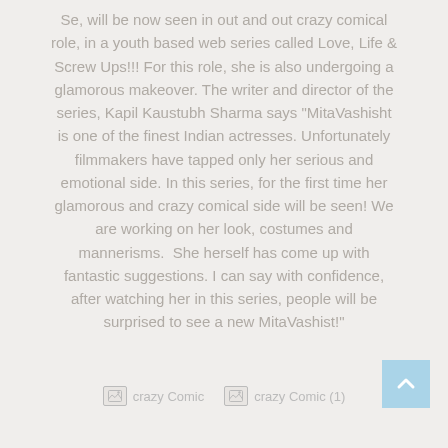Se, will be now seen in out and out crazy comical role, in a youth based web series called Love, Life & Screw Ups!!! For this role, she is also undergoing a glamorous makeover. The writer and director of the series, Kapil Kaustubh Sharma says "MitaVashisht is one of the finest Indian actresses. Unfortunately filmmakers have tapped only her serious and emotional side. In this series, for the first time her glamorous and crazy comical side will be seen! We are working on her look, costumes and mannerisms.  She herself has come up with fantastic suggestions. I can say with confidence, after watching her in this series, people will be surprised to see a new MitaVashist!"
[Figure (photo): Placeholder image labeled 'crazyComic']
[Figure (photo): Placeholder image labeled 'crazyComic (1)']
[Figure (other): Scroll-to-top button, light blue square with upward chevron arrow]